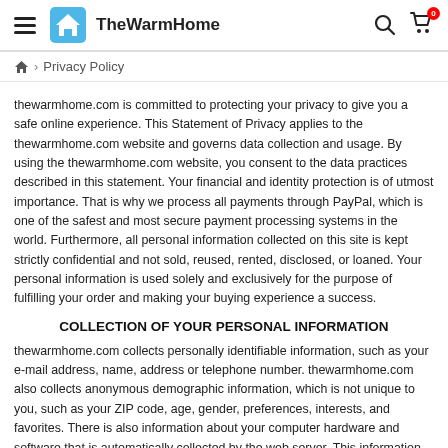TheWarmHome — navigation header with hamburger menu, logo, search and cart icons
Home > Privacy Policy
thewarmhome.com is committed to protecting your privacy to give you a safe online experience. This Statement of Privacy applies to the thewarmhome.com website and governs data collection and usage. By using the thewarmhome.com website, you consent to the data practices described in this statement. Your financial and identity protection is of utmost importance. That is why we process all payments through PayPal, which is one of the safest and most secure payment processing systems in the world. Furthermore, all personal information collected on this site is kept strictly confidential and not sold, reused, rented, disclosed, or loaned. Your personal information is used solely and exclusively for the purpose of fulfilling your order and making your buying experience a success.
COLLECTION OF YOUR PERSONAL INFORMATION
thewarmhome.com collects personally identifiable information, such as your e-mail address, name, address or telephone number. thewarmhome.com also collects anonymous demographic information, which is not unique to you, such as your ZIP code, age, gender, preferences, interests, and favorites. There is also information about your computer hardware and software that is automatically collected by the web server. This information may include...